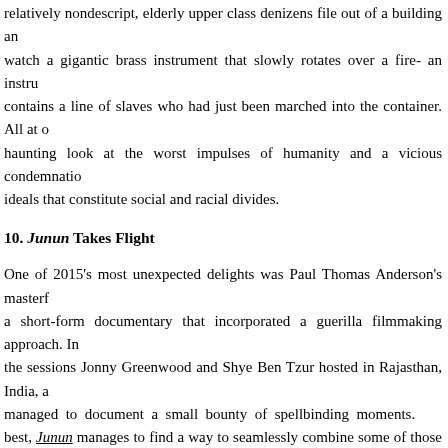relatively nondescript, elderly upper class denizens file out of a building and watch a gigantic brass instrument that slowly rotates over a fire- an instrument contains a line of slaves who had just been marched into the container. All at once, haunting look at the worst impulses of humanity and a vicious condemnation of ideals that constitute social and racial divides.
10. Junun Takes Flight
One of 2015's most unexpected delights was Paul Thomas Anderson's masterpiece, a short-form documentary that incorporated a guerilla filmmaking approach. In the sessions Jonny Greenwood and Shye Ben Tzur hosted in Rajasthan, India, managed to document a small bounty of spellbinding moments. best, Junun manages to find a way to seamlessly combine some of those moments scenes that are elevated to sublime realms. One of those moments arrives at the film's halfway point, which splices in gorgeous aerial shots from one of the mounted cameras surveying a frenzied bird feeding process and a spirited performance from Junun's key players that allows Greenwood's guitar work to take a more prominent role. The sequence marks Junun's most definitive moment; conventions are cast aside while there's an aesthetic artistry that's conjured up in the marriage of the distinctive live score and its ravishing visuals.